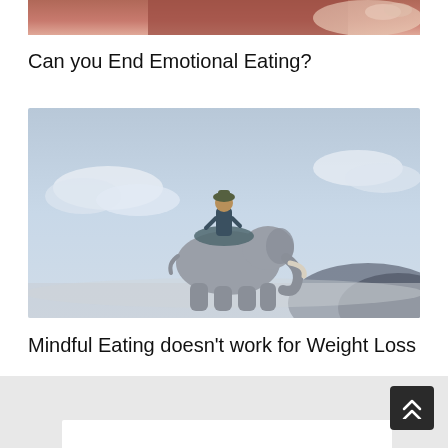[Figure (photo): Top portion of a photo showing a person in dark red/maroon shirt with a hand visible, cropped at top of page]
Can you End Emotional Eating?
[Figure (photo): A person riding an elephant against a cloudy sky background, grey-blue toned atmospheric photo]
Mindful Eating doesn’t work for Weight Loss